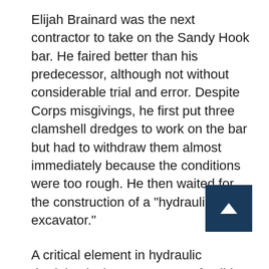Elijah Brainard was the next contractor to take on the Sandy Hook bar. He faired better than his predecessor, although not without considerable trial and error. Despite Corps misgivings, he first put three clamshell dredges to work on the bar but had to withdraw them almost immediately because the conditions were too rough. He then waited for the construction of a "hydraulic excavator."
A critical element in hydraulic dredging is the percentage of solids being pumped. In order to remove the expected 2,000 to 3,000 cubic yards of sand a day, Brainard's hydraulic excavator had to lift a 10% to 20% mixture of solids to water. T[he mixture,] k, in fact, turned out to be less than 5%. Over a five-month period, the total amount of material [removed from the bar totaled…]